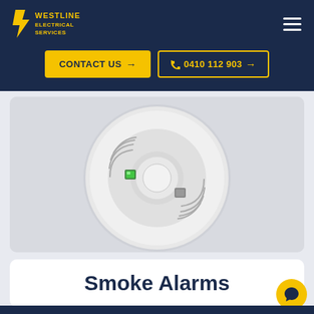[Figure (logo): Westline Electrical Services logo — yellow lightning bolt letter W with company name in yellow text on dark navy background]
CONTACT US →
📞 0410 112 903 →
[Figure (photo): Close-up photo of a white round smoke alarm detector mounted on a ceiling, with a green LED indicator light and a test button visible]
Smoke Alarms